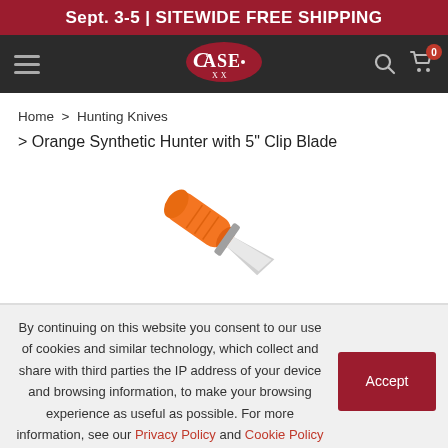Sept. 3-5 | SITEWIDE FREE SHIPPING
[Figure (logo): Case XX knives logo on dark navigation bar with hamburger menu, search icon, and cart icon with badge showing 0]
Home > Hunting Knives > Orange Synthetic Hunter with 5" Clip Blade
[Figure (photo): Orange synthetic handle hunting knife with 5 inch clip blade, shown diagonally against white background]
By continuing on this website you consent to our use of cookies and similar technology, which collect and share with third parties the IP address of your device and browsing information, to make your browsing experience as useful as possible. For more information, see our Privacy Policy and Cookie Policy